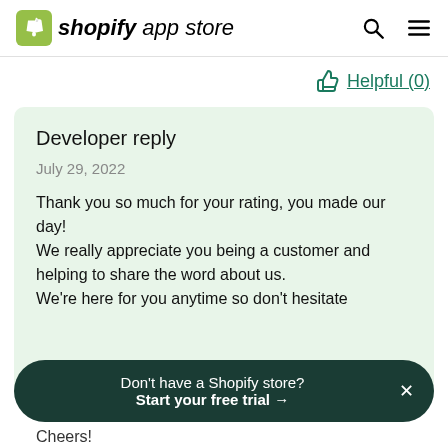shopify app store
Helpful (0)
Developer reply
July 29, 2022
Thank you so much for your rating, you made our day!
We really appreciate you being a customer and helping to share the word about us.
We're here for you anytime so don't hesitate
Don't have a Shopify store?
Start your free trial →
Cheers!